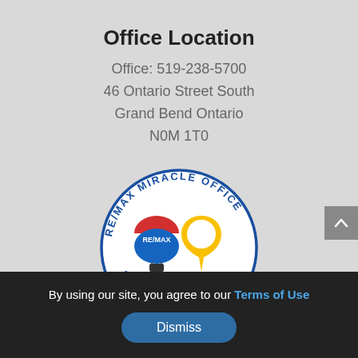Office Location
Office: 519-238-5700
46 Ontario Street South
Grand Bend Ontario
N0M 1T0
[Figure (logo): RE/MAX Miracle Office circular logo with hot air balloon and lightbulb/location pin icon, text reading RE/MAX MIRACLE OFFICE and SUPPORT HOSPITALS around the border]
By using our site, you agree to our Terms of Use
Dismiss